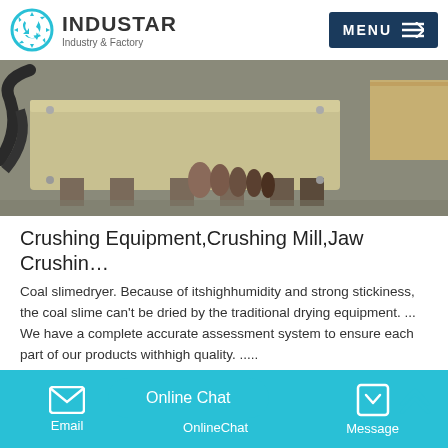INDUSTAR Industry & Factory
[Figure (photo): Industrial crushing equipment components on a factory floor, showing machinery parts including a large beige/yellow machine base and cylindrical components]
Crushing Equipment,Crushing Mill,Jaw Crushin…
Coal slimedryer. Because of itshighhumidity and strong stickiness, the coal slime can't be dried by the traditional drying equipment. ... We have a complete accurate assessment system to ensure each part of our products withhigh quality. .....
[Figure (photo): Partial view of an industrial facility or construction site]
Email  OnlineChat  Message